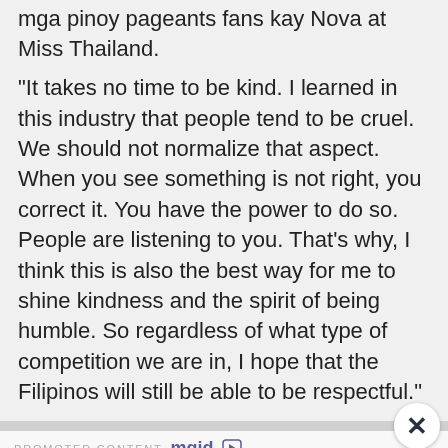mga pinoy pageants fans  kay Nova at Miss Thailand.
"It takes no time to be kind. I learned in this industry that people tend to be cruel. We should not normalize that aspect. When you see something is not right, you correct it. You have the power to do so. People are listening to you. That's why, I think this is also the best way for me to shine kindness and the spirit of being humble. So regardless of what type of competition we are in, I hope that the Filipinos will still be able to be respectful."
PROMOTED CONTENT mgid
[Figure (photo): Photo of TV show actors - advertisement image for canceled shows]
Pretty Awesome Shows That Just Got Canceled
[Figure (photo): Photos of Andrea Brillantes and Francine Diaz - advertisement image]
Andrea Brillantes,Ginulat ang Publiko sa Pangyayaring Sinug0d si Francine Diaz dahil dito....